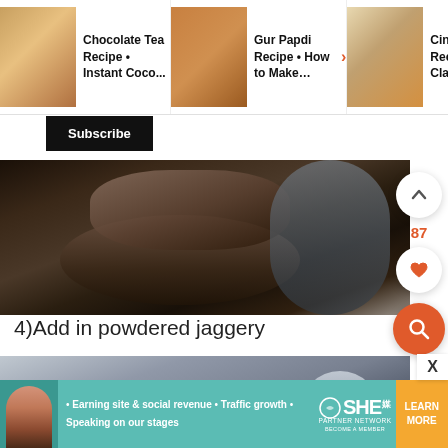[Figure (screenshot): Recommended recipe thumbnails row: Chocolate Tea Recipe Instant Coco..., Gur Papdi Recipe How to Make..., Cinnamon Recipe Classic...]
Subscribe
[Figure (photo): A hand holding a bowl of powdered jaggery over a cooking pot]
4)Add in powdered jaggery
[Figure (photo): A cooking pot with liquid/ingredients, metallic surface visible]
[Figure (screenshot): SHE Media Partner Network advertisement banner: Earning site & social revenue, Traffic growth, Speaking on our stages. LEARN MORE button.]